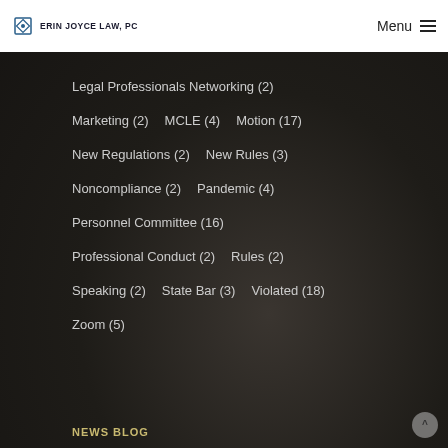ERIN JOYCE LAW, PC | Menu
Legal Professionals Networking (2)
Marketing (2)  MCLE (4)  Motion (17)
New Regulations (2)  New Rules (3)
Noncompliance (2)  Pandemic (4)
Personnel Committee (16)
Professional Conduct (2)  Rules (2)
Speaking (2)  State Bar (3)  Violated (18)
Zoom (5)
NEWS BLOG